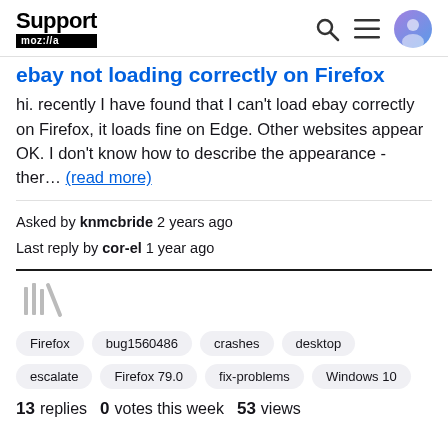Support mozilla://a
hi. recently I have found that I can't load ebay correctly on Firefox, it loads fine on Edge. Other websites appear OK. I don't know how to describe the appearance - ther… (read more)
Asked by knmcbride 2 years ago
Last reply by cor-el 1 year ago
[Figure (illustration): Library / bookmark stack icon in gray]
Firefox  bug1560486  crashes  desktop  escalate  Firefox 79.0  fix-problems  Windows 10
13 replies  0 votes this week  53 views